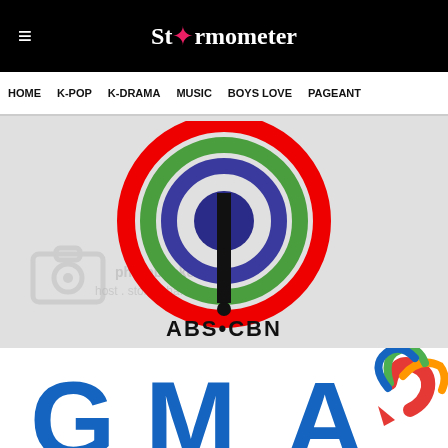Stormometer — HOME | K-POP | K-DRAMA | MUSIC | BOYS LOVE | PAGEANT
[Figure (logo): ABS-CBN network logo: concentric arcs in red, green, blue/purple with a vertical black bar and ABS•CBN text below, displayed on a light gray background with photobucket watermark]
[Figure (logo): GMA network logo: blue GMA letters with rainbow-colored heart/swirl graphic, partially visible at bottom of page]